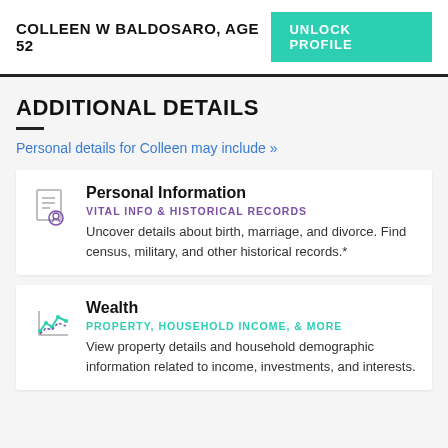COLLEEN W BALDOSARO, AGE 52 | UNLOCK PROFILE
ADDITIONAL DETAILS
Personal details for Colleen may include »
Personal Information
VITAL INFO & HISTORICAL RECORDS
Uncover details about birth, marriage, and divorce. Find census, military, and other historical records.*
Wealth
PROPERTY, HOUSEHOLD INCOME, & MORE
View property details and household demographic information related to income, investments, and interests.